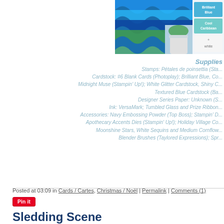[Figure (photo): Blue and teal decorative fabric or curtain with wave pattern alongside a white plant pot, with color swatches showing Brilliant Blue, Cool Caribbean, and white]
Supplies
Stamps: Pétales de poinsettia (Sta...
Cardstock: #6 Blank Cards (Photoplay); Brilliant Blue, Co...
Midnight Muse (Stampin' Up!); White Glitter Cardstock, Shiny C...
Textured Blue Cardstock (Ba...
Designer Series Paper: Unknown (S...
Ink: VersaMark; Tumbled Glass and Prize Ribbon...
Accessories: Navy Embossing Powder (Top Boss); Stampin' D...
Apothecary Accents Dies (Stampin' Up!); Holiday Village Co...
Moonshine Stars, White Sequins and Medium Cornflow...
Blender Brushes (Taylored Expressions); Spr...
Posted at 03:09 in Cards / Cartes, Christmas / Noël | Permalink | Comments (1)
[Figure (logo): Pin it button (Pinterest)]
Sledding Scene
Inspiration: 52 Christmas Card Throwdown (Skiing or Sled... Red + Square)